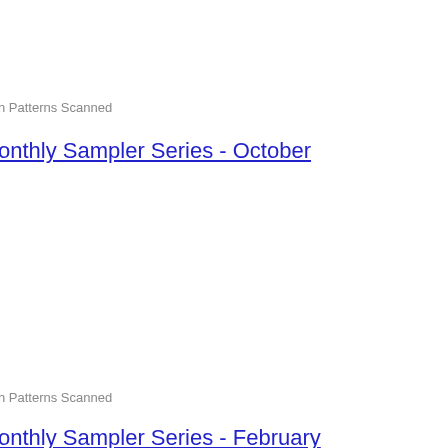h Patterns Scanned
onthly Sampler Series - October
h Patterns Scanned
onthly Sampler Series - February